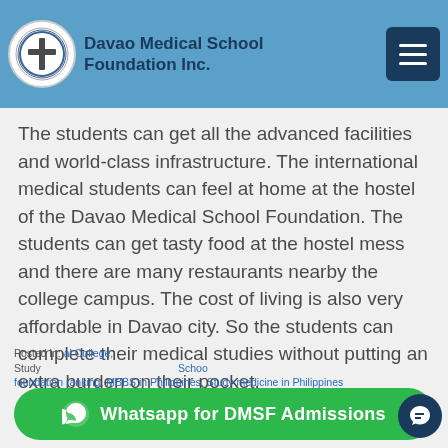Davao Medical School Foundation Inc.
The students can get all the advanced facilities and world-class infrastructure. The international medical students can feel at home at the hostel of the Davao Medical School Foundation. The students can get tasty food at the hostel mess and there are many restaurants nearby the college campus. The cost of living is also very affordable in Davao city. So the students can complete their medical studies without putting an extra burden on their pocket.
Posted in: Medical College, Study..., davao medical school foundation ranking, MBBS in Philippines, Study medicine in Philippines